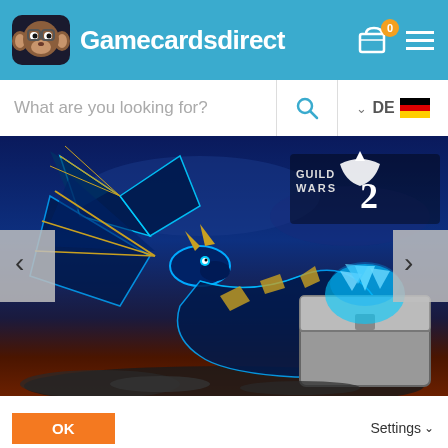Gamecardsdirect
What are you looking for?
[Figure (screenshot): Guild Wars 2 promotional banner showing a blue dragon and treasure chest with glowing blue gems]
Have a cookie!
Gamecardsdirect hands out cookies when you visit our webshop. Unfortunately, these are not the type of cookies you can snack on, but small (temporary) files on your computer.  You can easily change the settings to your preference on Gamecardsdirect.com. Pretty convenient!
OK
Settings